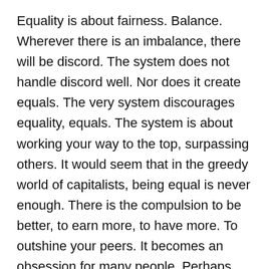Equality is about fairness.  Balance.  Wherever there is an imbalance, there will be discord.  The system does not handle discord well.  Nor does it create equals.  The very system discourages equality, equals.  The system is about working your way to the top, surpassing others.  It would seem that in the greedy world of capitalists, being equal is never enough.  There is the compulsion to be better, to earn more, to have more.  To outshine your peers.  It becomes an obsession for many people.  Perhaps those at the top of the capitalist ladder do have ‘equals’.  Perhaps they consider themselves ‘equal’ to people who earn the same as they do.  That is perhaps their measure in life.
It is worth fostering equality as an ideal.  I think it is an ideal.  It is something to strive towards, like peace.